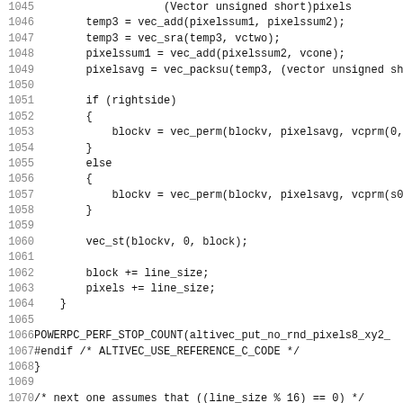[Figure (other): Source code listing in C with line numbers 1045-1076, showing AltiVec POWERPC pixel processing routines]